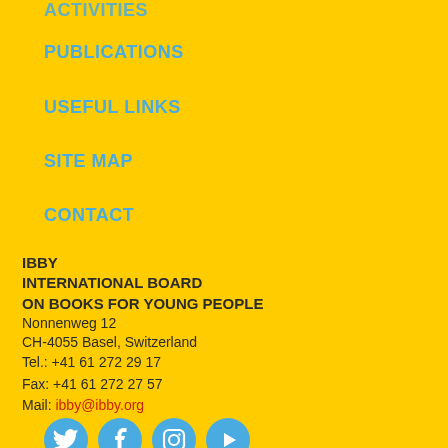PUBLICATIONS
USEFUL LINKS
SITE MAP
CONTACT
IBBY
INTERNATIONAL BOARD
ON BOOKS FOR YOUNG PEOPLE
Nonnenweg 12
CH-4055 Basel, Switzerland
Tel.: +41 61 272 29 17
Fax: +41 61 272 27 57
Mail: ibby@ibby.org
[Figure (other): Four social media icons: Twitter (bird), Facebook (f), Instagram (camera), YouTube (play button) — circular blue buttons]